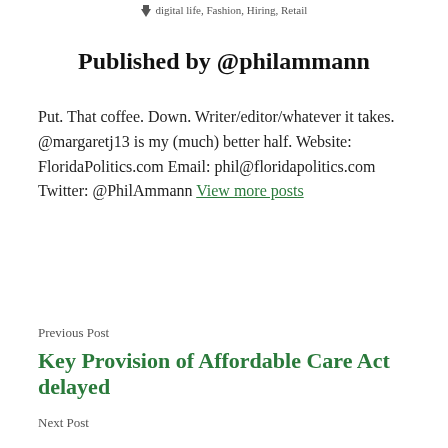digital life, Fashion, Hiring, Retail
Published by @philammann
Put. That coffee. Down. Writer/editor/whatever it takes. @margaretj13 is my (much) better half. Website: FloridaPolitics.com Email: phil@floridapolitics.com Twitter: @PhilAmmann View more posts
Previous Post
Key Provision of Affordable Care Act delayed
Next Post